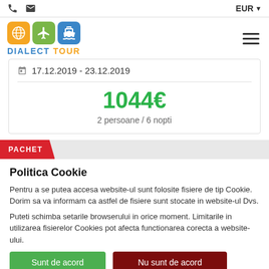EUR
[Figure (logo): Dialect Tour logo with orange globe, green airplane, and blue ship icons]
17.12.2019 - 23.12.2019
1044€
2 persoane / 6 nopti
PACHET
Politica Cookie
Pentru a se putea accesa website-ul sunt folosite fisiere de tip Cookie. Dorim sa va informam ca astfel de fisiere sunt stocate in website-ul Dvs.
Puteti schimba setarile browserului in orice moment. Limitarile in utilizarea fisierelor Cookies pot afecta functionarea corecta a website-ului.
Sunt de acord
Nu sunt de acord